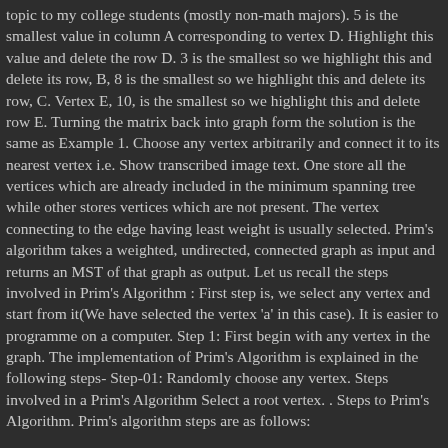topic to my college students (mostly non-math majors). 5 is the smallest value in column A corresponding to vertex D. Highlight this value and delete the row D. 3 is the smallest so we highlight this and delete its row, B, 8 is the smallest so we highlight this and delete its row, C. Vertex E, 10, is the smallest so we highlight this and delete row E. Turning the matrix back into graph form the solution is the same as Example 1. Choose any vertex arbitrarily and connect it to its nearest vertex i.e. Show transcribed image text. One store all the vertices which are already included in the minimum spanning tree while other stores vertices which are not present. The vertex connecting to the edge having least weight is usually selected. Prim's algorithm takes a weighted, undirected, connected graph as input and returns an MST of that graph as output. Let us recall the steps involved in Prim's Algorithm : First step is, we select any vertex and start from it(We have selected the vertex 'a' in this case). It is easier to programme on a computer. Step 1: First begin with any vertex in the graph. The implementation of Prim's Algorithm is explained in the following steps- Step-01: Randomly choose any vertex. Steps involved in a Prim's Algorithm Select a root vertex. . Steps to Prim's Algorithm. Prim's algorithm steps are as follows: